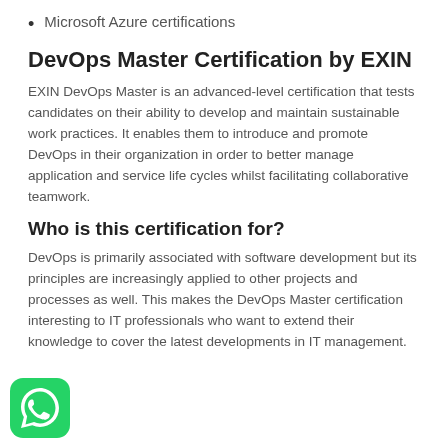Microsoft Azure certifications
DevOps Master Certification by EXIN
EXIN DevOps Master is an advanced-level certification that tests candidates on their ability to develop and maintain sustainable work practices. It enables them to introduce and promote DevOps in their organization in order to better manage application and service life cycles whilst facilitating collaborative teamwork.
Who is this certification for?
DevOps is primarily associated with software development but its principles are increasingly applied to other projects and processes as well. This makes the DevOps Master certification interesting to IT professionals who want to extend their knowledge to cover the latest developments in IT management.
[Figure (logo): WhatsApp icon — green rounded square with white phone handset logo]